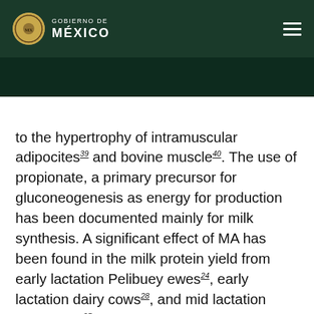GOBIERNO DE MÉXICO
to the hypertrophy of intramuscular adipocites39 and bovine muscle40. The use of propionate, a primary precursor for gluconeogenesis as energy for production has been documented mainly for milk synthesis. A significant effect of MA has been found in the milk protein yield from early lactation Pelibuey ewes24, early lactation dairy cows28, and mid lactation dairy cows25. This effect is attributed to an increase in microbial efficiency resulting from increased carbohydrate use for microbial N production25. However, propionate could also